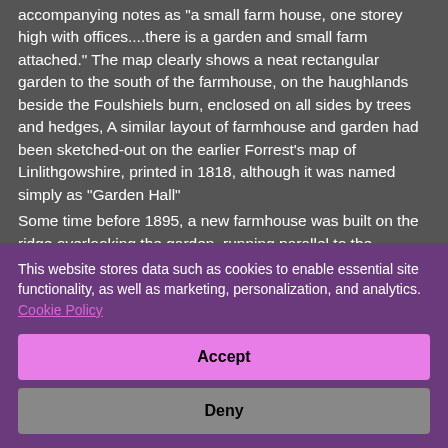accompanying notes as "a small farm house, one storey high with offices....there is a garden and small farm attached." The map clearly shows a neat rectangular garden to the south of the farmhouse, on the haughlands beside the Foulshiels burn, enclosed on all sides by trees and hedges, A similar layout of farmhouse and garden had been sketched-out on the earlier Forrest's map of Linlithgowshire, printed in 1818, although it was named simply as "Garden Hall"

Some time before 1895, a new farmhouse was built on the ridge overlooking the garden, running parallel to the
This website stores data such as cookies to enable essential site functionality, as well as marketing, personalization, and analytics. Cookie Policy
Accept
Deny